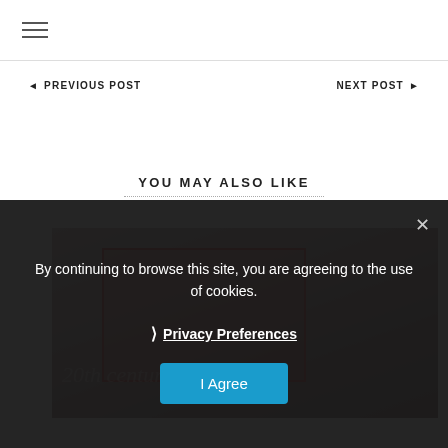☰ (hamburger menu icon)
◄ PREVIOUS POST    NEXT POST ►
YOU MAY ALSO LIKE
[Figure (photo): A blog post thumbnail image showing stacked books or cards with a red rectangular border overlay and decorative script text, with pinkish-gray tones.]
By continuing to browse this site, you are agreeing to the use of cookies.
❯ Privacy Preferences
I Agree